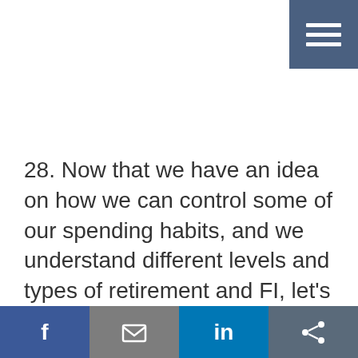[Figure (other): Hamburger menu icon button in dark blue/slate color, top-right corner]
28. Now that we have an idea on how we can control some of our spending habits, and we understand different levels and types of retirement and FI, let's
[Figure (other): Social share bar with four buttons: Facebook (blue, f icon), Email (gray, envelope icon), LinkedIn (blue, in icon), Share (dark gray, share icon)]